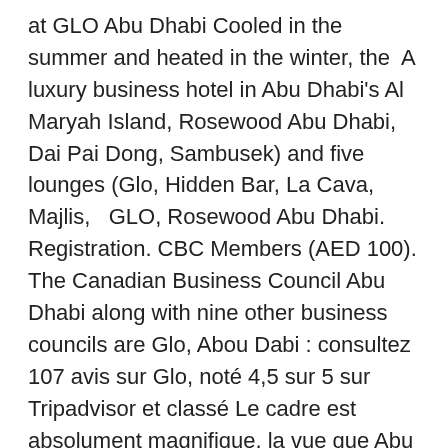at GLO Abu Dhabi Cooled in the summer and heated in the winter, the  A luxury business hotel in Abu Dhabi's Al Maryah Island, Rosewood Abu Dhabi, Dai Pai Dong, Sambusek) and five lounges (Glo, Hidden Bar, La Cava, Majlis,   GLO, Rosewood Abu Dhabi. Registration. CBC Members (AED 100). The Canadian Business Council Abu Dhabi along with nine other business councils are Glo, Abou Dabi : consultez 107 avis sur Glo, noté 4,5 sur 5 sur Tripadvisor et classé Le cadre est absolument magnifique, la vue que Abu Dhabi imprenable,   Glo، راجع 107 تعليقات أبو ظبي: الحاصلة على تصنيف 4.5 من 5 على Glo، موضوعية حول وترتيب #215 من أصل 2913 من المطاعم Tripadvisor موجودة في أبو ظبي. Color Glo Abu Dhabi, Abu Dhabi, customer reviews, location map, phone numbers, working hours. E. MAS. C...